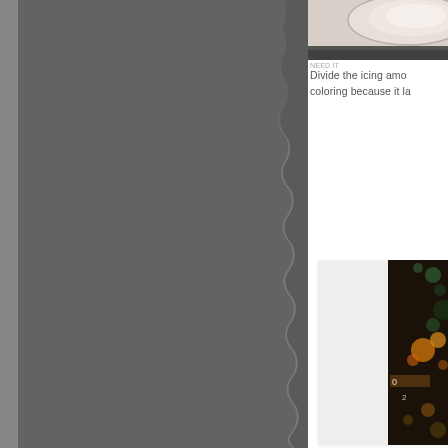[Figure (photo): Grey torn paper on the left half of the page, with a lighter background visible near the torn edge]
[Figure (photo): Partial photo at top right, showing what appears to be a bowl or dish from above]
Divide the icing amo... coloring because it la...
[Figure (photo): Partially visible photo in bottom right showing bokeh/colorful lights, possibly Christmas lights or food decorating context, set in a light grey frame]